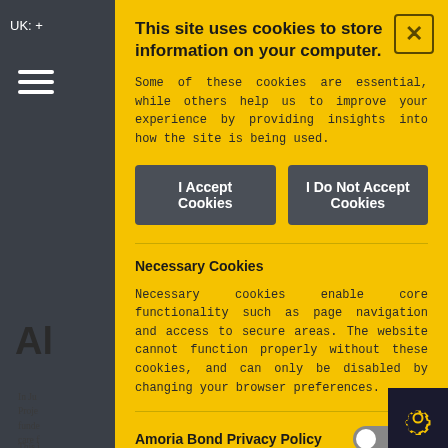This site uses cookies to store information on your computer.
Some of these cookies are essential, while others help us to improve your experience by providing insights into how the site is being used.
I Accept Cookies
I Do Not Accept Cookies
Necessary Cookies
Necessary cookies enable core functionality such as page navigation and access to secure areas. The website cannot function properly without these cookies, and can only be disabled by changing your browser preferences.
Amoria Bond Privacy Policy
Analytical cookies help us to improve our website b